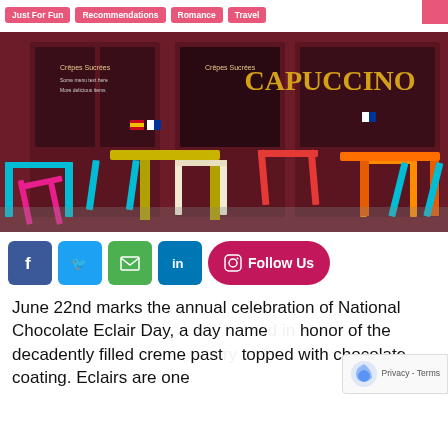Just For Fun   Recommendations   Romance   Travel
[Figure (photo): Colorful outdoor cafe with bright metal folding chairs and tables (pink, blue, yellow, red, orange, white) on a cobblestone street. Storefront with dark red exterior, CAPUCCINO sign in gold letters, menus and small flags in windows.]
[Figure (infographic): Social sharing buttons: Facebook (blue), Twitter (light blue), Email (green), LinkedIn (blue), and a magenta Follow Us button with Instagram icon.]
June 22nd marks the annual celebration of National Chocolate Eclair Day, a day named in honor of the decadently filled creme pastry topped with chocolate coating. Eclairs are one